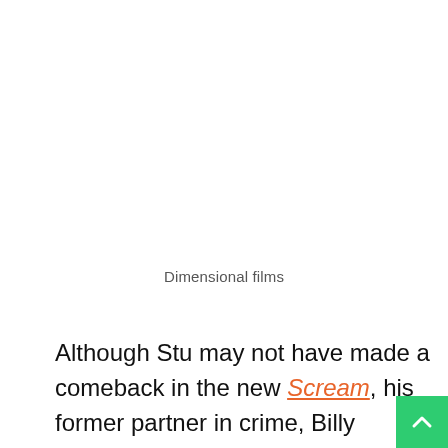Dimensional films
Although Stu may not have made a comeback in the new Scream, his former partner in crime, Billy Loomis, did. Although he died at the end of the 1996 film, Skeet Ulrich returned to the role in a ghostly new way, as a dark passenger for his illegitimate daughter Sam Carpenter. The public was shocked at the revelation, as was the Radio Silence team. “We were all in the same room at the same time reading a hard copy of the script,” Bettinelli-Olpin explained. “And you just saw each